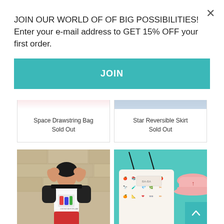× JOIN OUR WORLD OF OF BIG POSSIBILITIES! Enter your e-mail address to GET 15% OFF your first order. JOIN
Space Drawstring Bag
Sold Out
Star Reversible Skirt
Sold Out
[Figure (photo): Child with hands making heart shape over eyes, wearing a white raglan shirt with colorful print, against stone wall background]
[Figure (photo): Drawstring bag with colorful pattern and pink baseball cap on teal background]